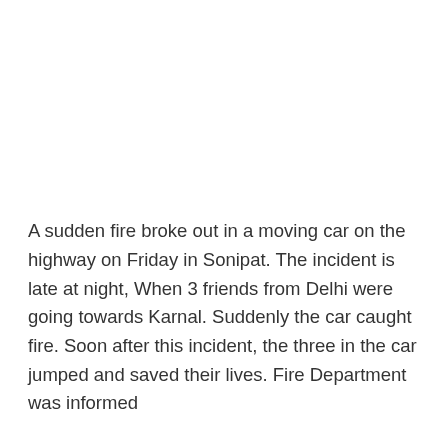A sudden fire broke out in a moving car on the highway on Friday in Sonipat. The incident is late at night, When 3 friends from Delhi were going towards Karnal. Suddenly the car caught fire. Soon after this incident, the three in the car jumped and saved their lives. Fire Department was informed